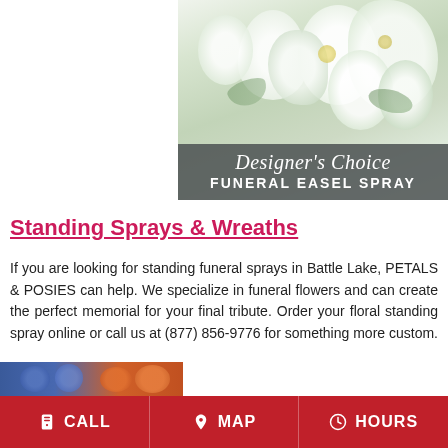[Figure (photo): Designer's Choice Funeral Easel Spray — floral arrangement photograph showing white lilies and flowers with a dark banner overlay reading "Designer's Choice" in script and "FUNERAL EASEL SPRAY" in bold caps.]
Standing Sprays & Wreaths
If you are looking for standing funeral sprays in Battle Lake, PETALS & POSIES can help. We specialize in funeral flowers and can create the perfect memorial for your final tribute. Order your floral standing spray online or call us at (877) 856-9776 for something more custom.
[Figure (photo): Partial bottom photo strip showing blue and orange floral/decorative elements, partially cut off.]
CALL   MAP   HOURS